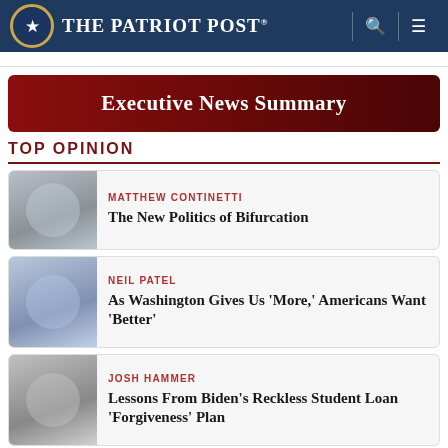The Patriot Post
Executive News Summary
TOP OPINION
MATTHEW CONTINETTI — The New Politics of Bifurcation
NEIL PATEL — As Washington Gives Us 'More,' Americans Want 'Better'
JOSH HAMMER — Lessons From Biden's Reckless Student Loan 'Forgiveness' Plan